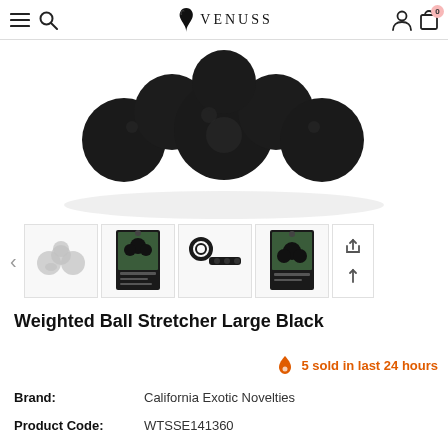VENUSS — navigation bar with menu, search, account, cart (0)
[Figure (photo): Close-up product photo of Weighted Ball Stretcher Large Black — dark matte black silicone device with multiple rounded ball shapes on white background with subtle shadow]
[Figure (photo): Thumbnail strip showing: (1) product in grey/transparent view, (2) product in retail packaging box, (3) product laid flat showing strap, (4) product in retail packaging front view; with navigation arrow left and two action icons (share/upload)]
Weighted Ball Stretcher Large Black
5 sold in last 24 hours
Brand:	California Exotic Novelties
Product Code:	WTSSE141360